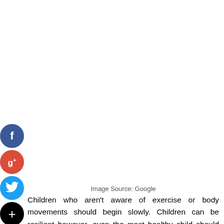[Figure (other): Social media share buttons (Facebook, Google+, Twitter, Add/Plus) displayed as circular icons on the left side of the page]
Image Source: Google
Children who aren't aware of exercise or body movements should begin slowly. Children can be resilient however, even the most healthy child should not begin doing vigorous